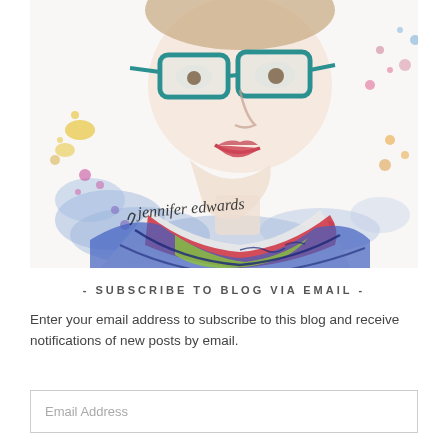[Figure (illustration): Watercolor illustration portrait of a person wearing teal-framed glasses, smiling, with colorful clothing (blue, red, green, white stripes). Colorful paint splatters in background. Artist signature 'jennifer edwards' in handwritten script at bottom left.]
- SUBSCRIBE TO BLOG VIA EMAIL -
Enter your email address to subscribe to this blog and receive notifications of new posts by email.